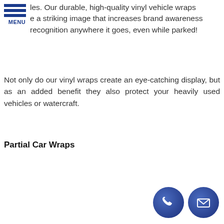[Figure (logo): Hamburger menu icon with three horizontal blue bars and MENU text below]
les. Our durable, high-quality vinyl vehicle wraps e a striking image that increases brand awareness recognition anywhere it goes, even while parked!
Not only do our vinyl wraps create an eye-catching display, but as an added benefit they also protect your heavily used vehicles or watercraft.
Partial Car Wraps
[Figure (illustration): Two circular dark blue contact icons: a phone handset icon and an envelope/email icon, positioned at bottom right]